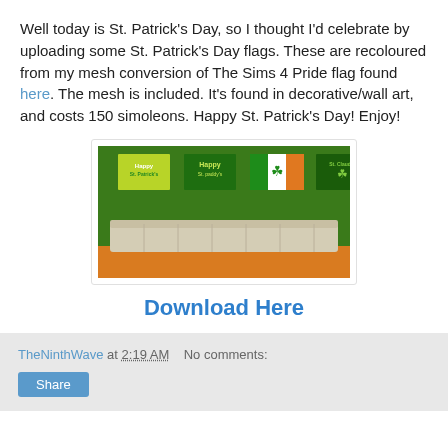Well today is St. Patrick's Day, so I thought I'd celebrate by uploading some St. Patrick's Day flags. These are recoloured from my mesh conversion of The Sims 4 Pride flag found here. The mesh is included. It's found in decorative/wall art, and costs 150 simoleons. Happy St. Patrick's Day! Enjoy!
[Figure (screenshot): Screenshot from The Sims 4 showing four St. Patrick's Day themed flags hanging on a green wall above a long white/cream sofa, with an orange floor.]
Download Here
TheNinthWave at 2:19 AM   No comments: